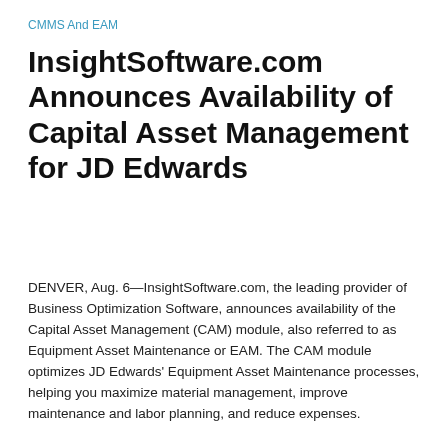CMMS And EAM
InsightSoftware.com Announces Availability of Capital Asset Management for JD Edwards
DENVER, Aug. 6—InsightSoftware.com, the leading provider of Business Optimization Software, announces availability of the Capital Asset Management (CAM) module, also referred to as Equipment Asset Maintenance or EAM. The CAM module optimizes JD Edwards' Equipment Asset Maintenance processes, helping you maximize material management, improve maintenance and labor planning, and reduce expenses.